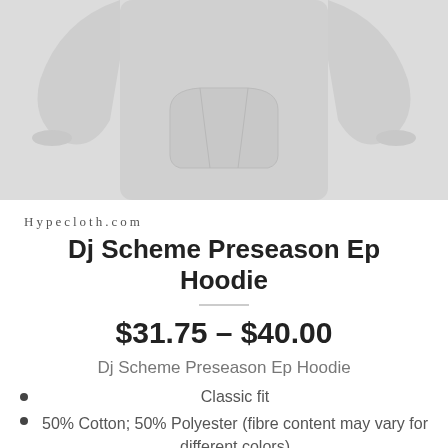[Figure (photo): Light gray hoodie sweatshirt product photo showing the front of the hoodie with a kangaroo pocket, partial view cropped at top]
Hypecloth.com
Dj Scheme Preseason Ep Hoodie
$31.75 – $40.00
Dj Scheme Preseason Ep Hoodie
Classic fit
50% Cotton; 50% Polyester (fibre content may vary for different colors)